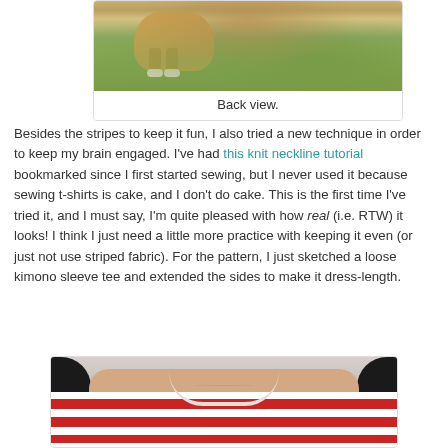[Figure (photo): Back view photo of a dog on grass with a person's legs/shoes visible, bottom portion of image]
Back view.
Besides the stripes to keep it fun, I also tried a new technique in order to keep my brain engaged. I've had this knit neckline tutorial bookmarked since I first started sewing, but I never used it because sewing t-shirts is cake, and I don't do cake. This is the first time I've tried it, and I must say, I'm quite pleased with how real (i.e. RTW) it looks! I think I just need a little more practice with keeping it even (or just not use striped fabric). For the pattern, I just sketched a loose kimono sleeve tee and extended the sides to make it dress-length.
[Figure (photo): Close-up photo of a woman's neckline showing a striped red and white knit top with a neckline treatment, dark hair visible on sides]